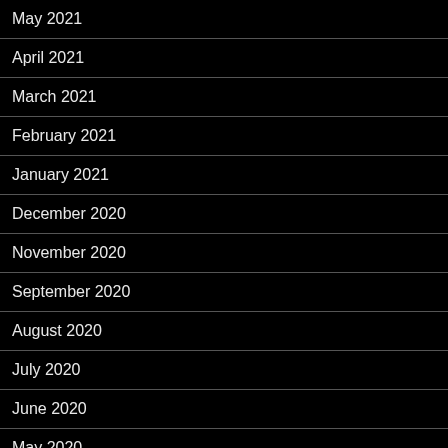May 2021
April 2021
March 2021
February 2021
January 2021
December 2020
November 2020
September 2020
August 2020
July 2020
June 2020
May 2020
April 2020